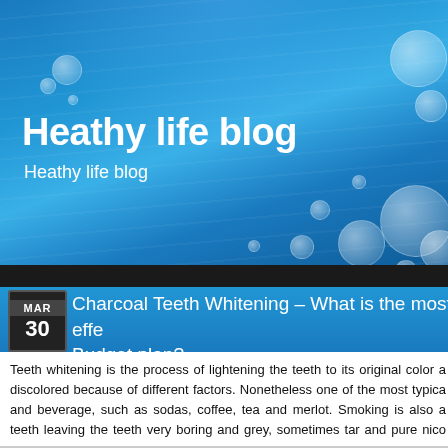[Figure (screenshot): Blog header banner with blue gradient background and bubble decorations]
Heathy life blog
Heathy life blog
Charcoal Teeth Whitening – What is the most effe... Budget plan?
Teeth whitening is the process of lightening the teeth to its original color a discolored because of different factors. Nonetheless one of the most typica and beverage, such as sodas, coffee, tea and merlot. Smoking is also a teeth leaving the teeth very boring and grey, sometimes tar and pure nico stubborn spots, which cannot be removed with brushing alone Age additiona of teeth, as we grow older our enamel frays creating the dentine below whic to be visible, or trigger intrinsic discoloration within the tooth.